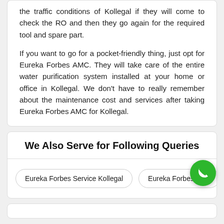the traffic conditions of Kollegal if they will come to check the RO and then they go again for the required tool and spare part.
If you want to go for a pocket-friendly thing, just opt for Eureka Forbes AMC. They will take care of the entire water purification system installed at your home or office in Kollegal. We don't have to really remember about the maintenance cost and services after taking Eureka Forbes AMC for Kollegal.
We Also Serve for Following Queries
Eureka Forbes Service Kollegal
Eureka Forbes near